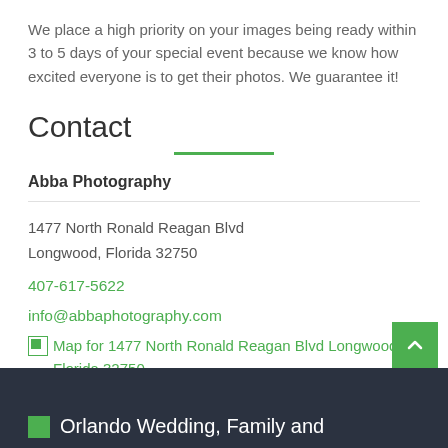We place a high priority on your images being ready within 3 to 5 days of your special event because we know how excited everyone is to get their photos. We guarantee it!
Contact
Abba Photography
1477 North Ronald Reagan Blvd
Longwood, Florida 32750
407-617-5622
info@abbaphotography.com
Map for 1477 North Ronald Reagan Blvd Longwood Florida 32750
Orlando Wedding, Family and